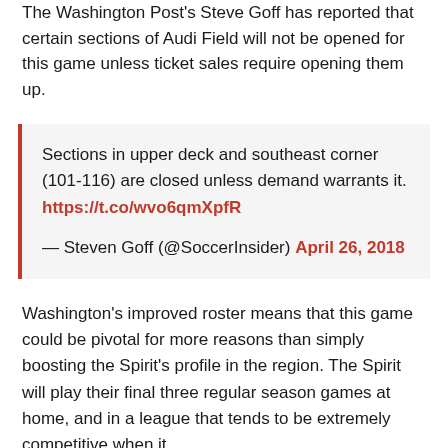The Washington Post's Steve Goff has reported that certain sections of Audi Field will not be opened for this game unless ticket sales require opening them up.
Sections in upper deck and southeast corner (101-116) are closed unless demand warrants it. https://t.co/wvo6qmXpfR
— Steven Goff (@SoccerInsider) April 26, 2018
Washington's improved roster means that this game could be pivotal for more reasons than simply boosting the Spirit's profile in the region. The Spirit will play their final three regular season games at home, and in a league that tends to be extremely competitive when it